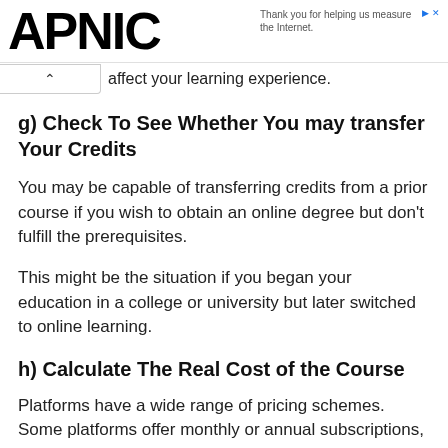APNIC — Thank you for helping us measure the Internet.
affect your learning experience.
g) Check To See Whether You may transfer Your Credits
You may be capable of transferring credits from a prior course if you wish to obtain an online degree but don't fulfill the prerequisites.
This might be the situation if you began your education in a college or university but later switched to online learning.
h) Calculate The Real Cost of the Course
Platforms have a wide range of pricing schemes. Some platforms offer monthly or annual subscriptions, while others charge per course. Degrees earned online are